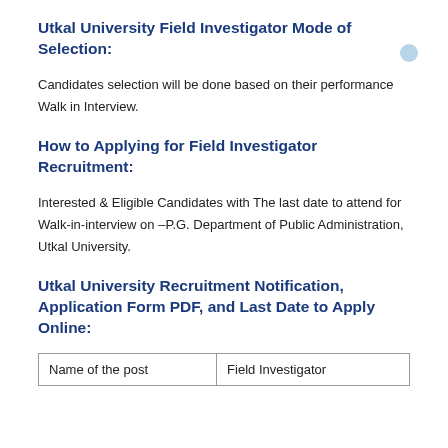Utkal University Field Investigator Mode of Selection:
Candidates selection will be done based on their performance Walk in Interview.
How to Applying for Field Investigator Recruitment:
Interested & Eligible Candidates with The last date to attend for Walk-in-interview on –P.G. Department of Public Administration, Utkal University.
Utkal University Recruitment Notification, Application Form PDF, and Last Date to Apply Online:
| Name of the post | Field Investigator |
| --- | --- |
| Name of the post | Field Investigator |